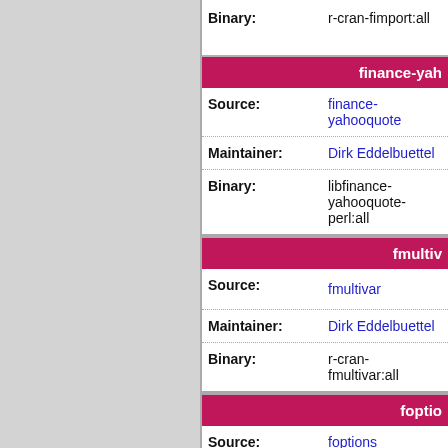| Field | Value |
| --- | --- |
| Binary: | r-cran-fimport:all |
finance-yah
| Field | Value |
| --- | --- |
| Source: | finance-yahooquote |
| Maintainer: | Dirk Eddelbuettel |
| Binary: | libfinance-yahooquote-perl:all |
fmultiv
| Field | Value |
| --- | --- |
| Source: | fmultivar |
| Maintainer: | Dirk Eddelbuettel |
| Binary: | r-cran-fmultivar:all |
foptio
| Field | Value |
| --- | --- |
| Source: | foptions |
| Maintainer: | Dirk Eddelbuett... |